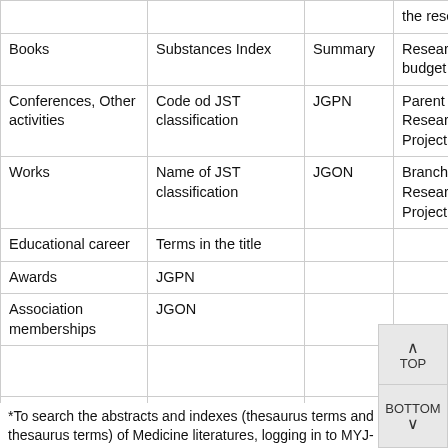|  |  |  | the research |
| --- | --- | --- | --- |
| Books | Substances Index | Summary | Research budget |
| Conferences, Other activities | Code od JST classification | JGPN | Parent Research Project |
| Works | Name of JST classification | JGON | Branch Research Project |
| Educational career | Terms in the title |  |  |
| Awards | JGPN |  |  |
| Association memberships | JGON |  |  |
|  |  |  |  |
|  |  |  |  |
|  |  |  |  |
|  |  |  |  |
*To search the abstracts and indexes (thesaurus terms and semi-thesaurus terms) of Medicine literatures, logging in to MYJ-